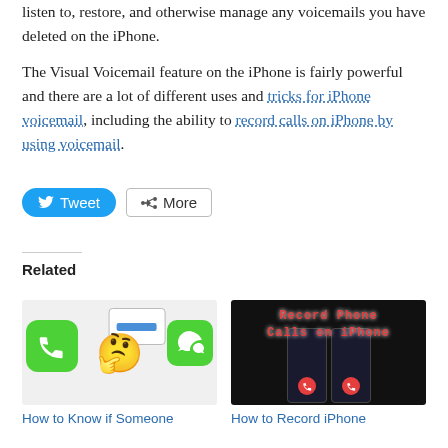listen to, restore, and otherwise manage any voicemails you have deleted on the iPhone.
The Visual Voicemail feature on the iPhone is fairly powerful and there are a lot of different uses and tricks for iPhone voicemail, including the ability to record calls on iPhone by using voicemail.
Related
[Figure (photo): Thumbnail image showing iPhone app icons (green phone, thinking emoji, green messages) illustrating how to know if someone blocked you]
How to Know if Someone
[Figure (photo): Screenshot showing Record Phone Calls on iPhone with two iPhone screens displaying a call interface with red hang-up buttons]
How to Record iPhone